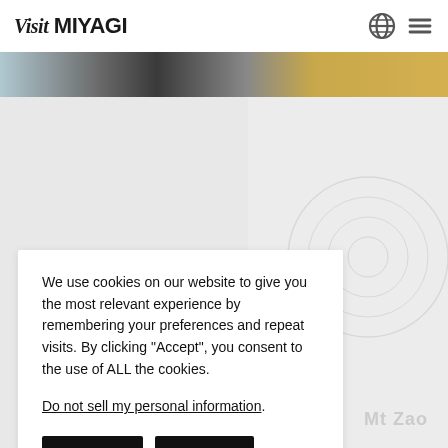Visit MIYAGI
[Figure (screenshot): Thin horizontal image strip showing a blurred panoramic scene with blue-sky, dark middle section, and golden-right gradient, appearing to be a website hero banner.]
We use cookies on our website to give you the most relevant experience by remembering your preferences and repeat visits. By clicking “Accept”, you consent to the use of ALL the cookies.
Do not sell my personal information.
Settings  Dismiss
Mt Zao